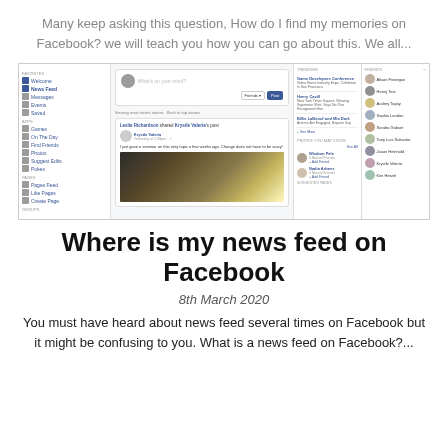Many keep asking this question, How do I find my memories on Facebook? we will teach you how you can go about this. We all...
[Figure (screenshot): Screenshot of the Facebook desktop interface showing the news feed, left sidebar with navigation links (Favorites, News Feed, Messages, Events, Saved, Games, On The Day, Find Friends, Photos, Suggest Edits, Pokes, Pages Feed, Like Pages, Create Page, Groups), a post by Krystle Valeri with sparkler image, trending events panel, and a friends list panel on the right.]
Where is my news feed on Facebook
8th March 2020
You must have heard about news feed several times on Facebook but it might be confusing to you. What is a news feed on Facebook?...